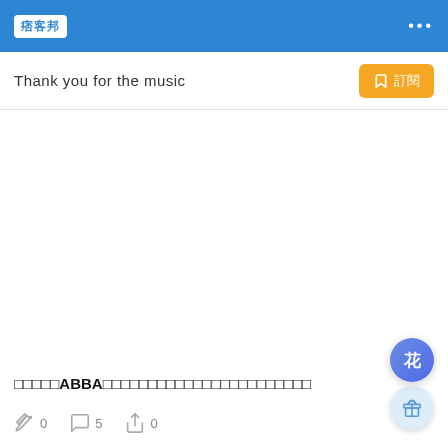痞客邦
Thank you for the music
□□□□□ABBA□□□□□□□□□□□□□□□□□□□□□□□
0  5  0